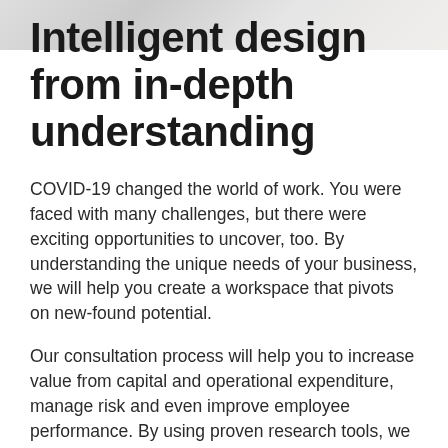[Figure (photo): Partial photo strip visible at top of page, appears to be a workspace/office scene, mostly faded/cropped]
Intelligent design from in-depth understanding
COVID-19 changed the world of work. You were faced with many challenges, but there were exciting opportunities to uncover, too. By understanding the unique needs of your business, we will help you create a workspace that pivots on new-found potential.
Our consultation process will help you to increase value from capital and operational expenditure, manage risk and even improve employee performance. By using proven research tools, we will develop a deep understanding of your organisation and its